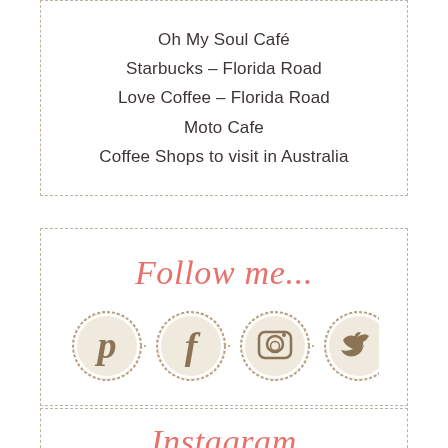Oh My Soul Café
Starbucks – Florida Road
Love Coffee – Florida Road
Moto Cafe
Coffee Shops to visit in Australia
Follow me...
[Figure (illustration): Four social media icons in tan/brown circular stamp style: Pinterest, Facebook, Instagram, Twitter, separated by dots]
Instagram